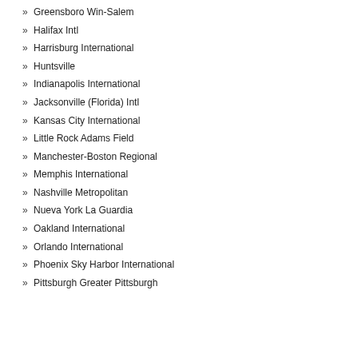» Greensboro Win-Salem
» Halifax Intl
» Harrisburg International
» Huntsville
» Indianapolis International
» Jacksonville (Florida) Intl
» Kansas City International
» Little Rock Adams Field
» Manchester-Boston Regional
» Memphis International
» Nashville Metropolitan
» Nueva York La Guardia
» Oakland International
» Orlando International
» Phoenix Sky Harbor International
» Pittsburgh Greater Pittsburgh